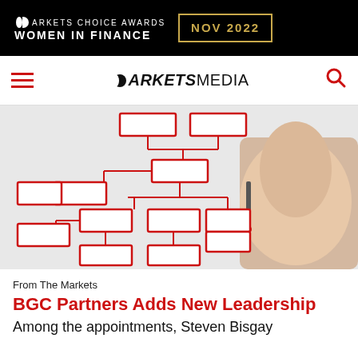[Figure (logo): Markets Choice Awards Women in Finance NOV 2022 banner advertisement on black background with gold border date box]
MARKETS MEDIA navigation bar with hamburger menu and search icon
[Figure (photo): A hand holding a red marker drawing an organizational chart with red rectangular boxes connected by lines on a light grey background]
From The Markets
BGC Partners Adds New Leadership
Among the appointments, Steven Bisgay